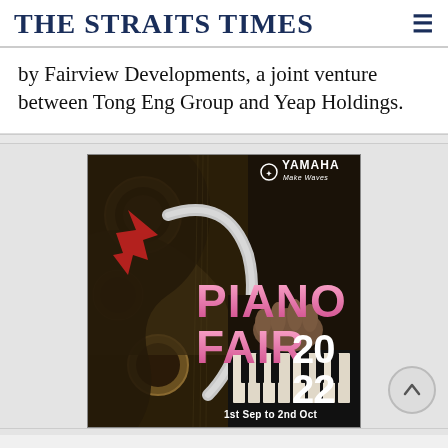THE STRAITS TIMES
by Fairview Developments, a joint venture between Tong Eng Group and Yeap Holdings.
[Figure (photo): Yamaha Piano Fair 2022 advertisement showing piano interior with text 'PIANO FAIR 2022, 1st Sep to 2nd Oct' and Yamaha Make Waves logo]